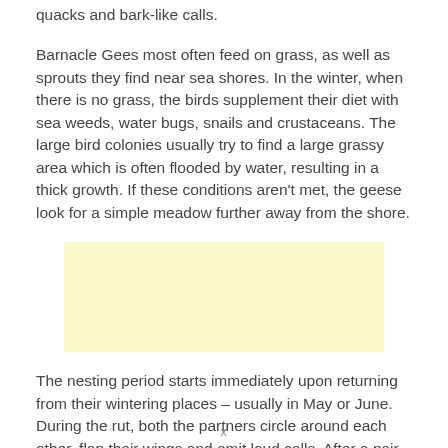quacks and bark-like calls.
Barnacle Gees most often feed on grass, as well as sprouts they find near sea shores. In the winter, when there is no grass, the birds supplement their diet with sea weeds, water bugs, snails and crustaceans. The large bird colonies usually try to find a large grassy area which is often flooded by water, resulting in a thick growth. If these conditions aren't met, the geese look for a simple meadow further away from the shore.
[Figure (other): Yellow/cream colored advertisement or placeholder box]
The nesting period starts immediately upon returning from their wintering places – usually in May or June. During the rut, both the partners circle around each other, flap their wings and emit loud calls. After a pair has been formed, they most often stick together for the rest of their lives. Nests are
x